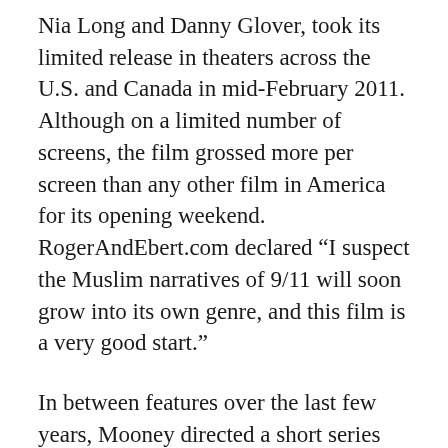Nia Long and Danny Glover, took its limited release in theaters across the U.S. and Canada in mid-February 2011. Although on a limited number of screens, the film grossed more per screen than any other film in America for its opening weekend. RogerAndEbert.com declared “I suspect the Muslim narratives of 9/11 will soon grow into its own genre, and this film is a very good start.”
In between features over the last few years, Mooney directed a short series for Disney as well as numerous music videos, including one for Kanye West’s Def Jam artist Big Sean, featuring GLC. The video, titled Million Dollars, became the second most viral music video in the world upon its release, right behind Lady